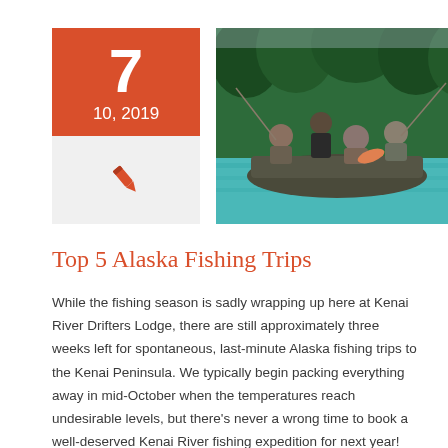[Figure (other): Orange date box showing '7' and '10, 2019', with a pen/pencil icon below on grey background]
[Figure (photo): Photo of four people on a fishing drift boat on a turquoise river with forested mountains in the background, holding fishing rods and fish.]
Top 5 Alaska Fishing Trips
While the fishing season is sadly wrapping up here at Kenai River Drifters Lodge, there are still approximately three weeks left for spontaneous, last-minute Alaska fishing trips to the Kenai Peninsula. We typically begin packing everything away in mid-October when the temperatures reach undesirable levels, but there's never a wrong time to book a well-deserved Kenai River fishing expedition for next year! We have the most experienced group of Kenai River fishing guides in the